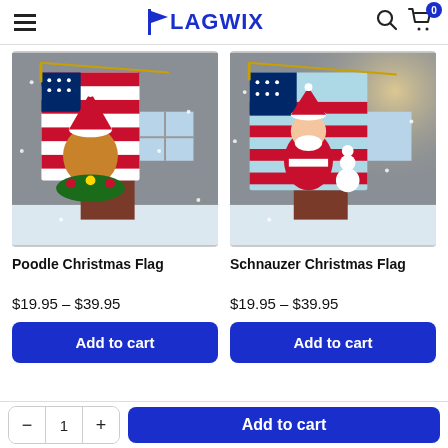Flagwix
[Figure (photo): Product photo of Poodle Christmas Flag hanging outside a brick house with Christmas decorations and snow]
Poodle Christmas Flag
$19.95 – $39.95
Add to cart
[Figure (photo): Product photo of Schnauzer Christmas Flag with Santa Claus design hanging outside a brick house with Christmas decorations and snow]
Schnauzer Christmas Flag
$19.95 – $39.95
Add to cart
1
Add to cart